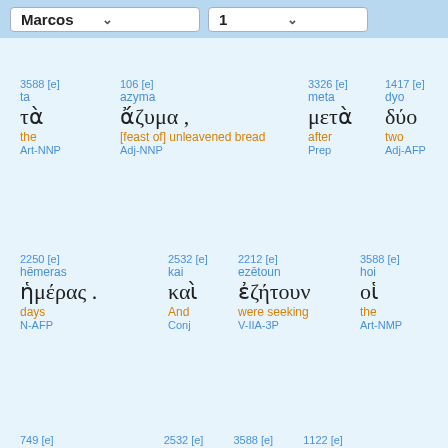Marcos | 1
| 3588 [e] | 106 [e] |  | 3326 [e] | 1417 [e] |
| --- | --- | --- | --- | --- |
| ta | azyma |  | meta | dyo |
| τὰ | ἄζυμα , |  | μετὰ | δύο |
| the | [feast of] unleavened bread |  | after | two |
| Art-NNP | Adj-NNP |  | Prep | Adj-AFP |
| 2250 [e] | 2532 [e] | 2212 [e] | 3588 [e] |
| --- | --- | --- | --- |
| hēmeras | kai | ezētoun | hoi |
| ἡμέρας . | καὶ | ἐζήτουν | οἱ |
| days | And | were seeking | the |
| N-AFP | Conj | V-IIA-3P | Art-NMP |